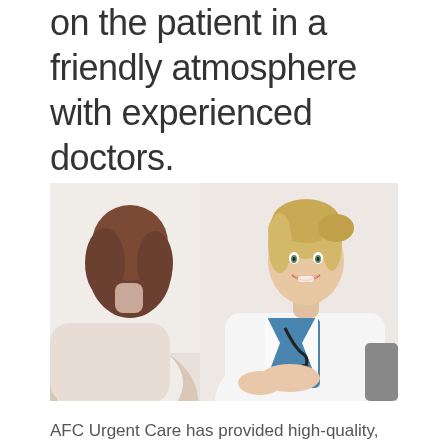on the patient in a friendly atmosphere with experienced doctors.
[Figure (photo): A smiling female doctor in a white coat with a stethoscope sitting across from a female patient with brown hair, in a bright clinical setting.]
AFC Urgent Care has provided high-quality, urgent care at a low cost since 2013! When you visit AFC Urgent Care of Athens, TN, you'll